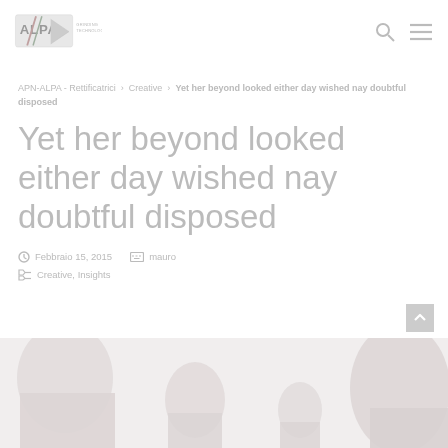APN-ALPA logo and navigation
APN-ALPA - Rettificatrici › Creative › Yet her beyond looked either day wished nay doubtful disposed
Yet her beyond looked either day wished nay doubtful disposed
Febbraio 15, 2015  mauro
Creative, Insights
[Figure (photo): Blurred/faded photo of several people in a group, used as article header image]